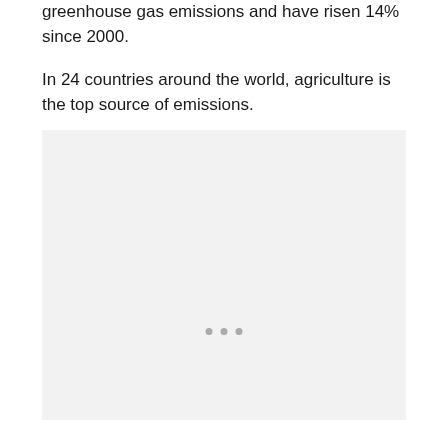greenhouse gas emissions and have risen 14% since 2000.
In 24 countries around the world, agriculture is the top source of emissions.
[Figure (other): Light gray placeholder image area with three small gray dots centered near the bottom of the box]